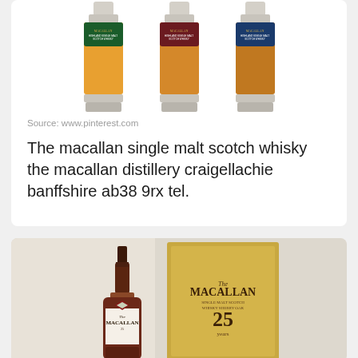[Figure (photo): Three bottles of The Macallan Highland Single Malt Scotch Whisky shown side by side — green label, red/maroon label, and blue label variants]
Source: www.pinterest.com
The macallan single malt scotch whisky the macallan distillery craigellachie banffshire ab38 9rx tel.
[Figure (photo): A bottle of The Macallan 25 Year Old Single Malt Scotch Whisky with its gold presentation box, the bottle has a dark maroon label and the number 25 prominently displayed]